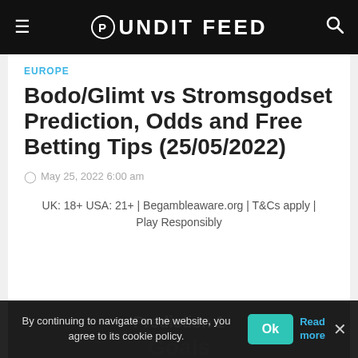Pundit Feed
EUROPE
Bodo/Glimt vs Stromsgodset Prediction, Odds and Free Betting Tips (25/05/2022)
May 25, 2022 6:00 am
UK: 18+ USA: 21+ | Begambleaware.org | T&Cs apply | Play Responsibly
Prediction 1
Goals
By continuing to navigate on the website, you agree to its cookie policy.